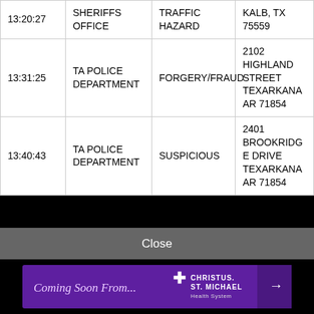| Time | Department | Type | Address |
| --- | --- | --- | --- |
| 13:20:27 | SHERIFFS OFFICE | TRAFFIC HAZARD | KALB, TX 75559 |
| 13:31:25 | TA POLICE DEPARTMENT | FORGERY/FRAUD | 2102 HIGHLAND STREET TEXARKANA AR 71854 |
| 13:40:43 | TA POLICE DEPARTMENT | SUSPICIOUS | 2401 BROOKRIDGE DRIVE TEXARKANA AR 71854 |
Close
[Figure (illustration): Purple advertisement banner reading 'Coming Soon From...' with Christus St. Michael Health System logo and arrow]